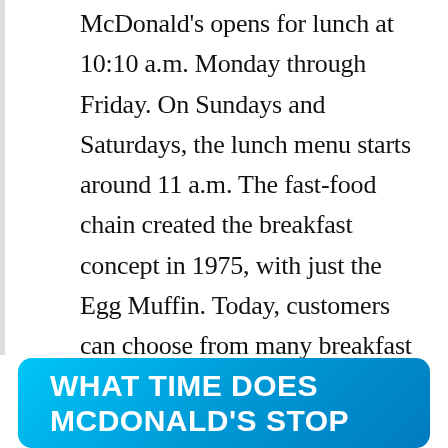McDonald's opens for lunch at 10:10 a.m. Monday through Friday. On Sundays and Saturdays, the lunch menu starts around 11 a.m. The fast-food chain created the breakfast concept in 1975, with just the Egg Muffin. Today, customers can choose from many breakfast dishes like Bacon eggs & Cheese Biscuits, the Big Breakfast, Sausage McGriddles, Hotcakes, Sausage Biscuits, and many more.
WHAT TIME DOES MCDONALD'S STOP